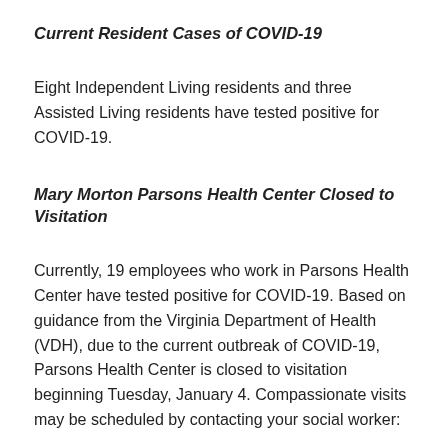Current Resident Cases of COVID-19
Eight Independent Living residents and three Assisted Living residents have tested positive for COVID-19.
Mary Morton Parsons Health Center Closed to Visitation
Currently, 19 employees who work in Parsons Health Center have tested positive for COVID-19. Based on guidance from the Virginia Department of Health (VDH), due to the current outbreak of COVID-19, Parsons Health Center is closed to visitation beginning Tuesday, January 4. Compassionate visits may be scheduled by contacting your social worker:
Nicole Cole at (804) 264-6067 or ncole@wcrichmond.org